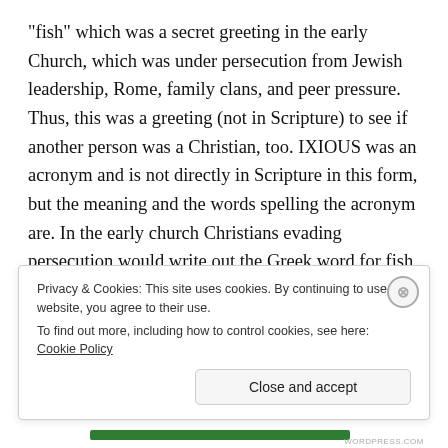“fish” which was a secret greeting in the early Church, which was under persecution from Jewish leadership, Rome, family clans, and peer pressure. Thus, this was a greeting (not in Scripture) to see if another person was a Christian, too. IXIOUS was an acronym and is not directly in Scripture in this form, but the meaning and the words spelling the acronym are. In the early church Christians evading persecution would write out the Greek word for fish, “IXIOUS”, or the symbol <>< which stood for Jesus, Christ, God, Son, and Savior. This acronym stood for who Jesus was—the Savior;
Privacy & Cookies: This site uses cookies. By continuing to use this website, you agree to their use.
To find out more, including how to control cookies, see here: Cookie Policy